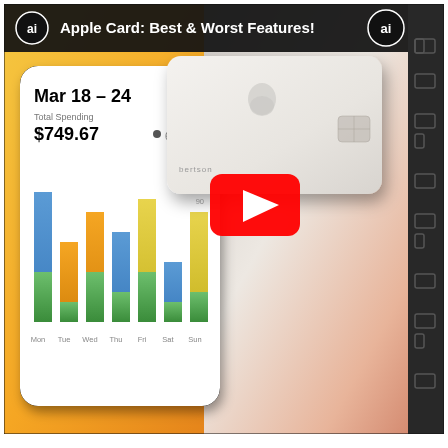[Figure (screenshot): YouTube video thumbnail for 'Apple Card: Best & Worst Features!' showing an AppleInsider (ai) logo in the top-left and top-right corners, with a title text overlay. The thumbnail shows an iPhone with the Apple Card spending tracker app open displaying 'Mar 18 – 24' date range, 'Total Spending $749.67 ● 6%', and a bar chart with days Mon–Sun. An Apple Card (physical white titanium card) is shown overlapping the iPhone. A large YouTube play button (red circle with white triangle) is centered over the thumbnail.]